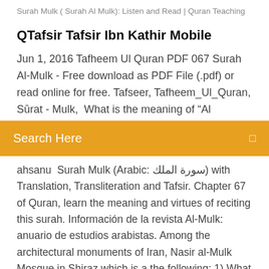Surah Mulk ( Surah Al Mulk): Listen and Read | Quran Teaching
QTafsir Tafsir Ibn Kathir Mobile
Jun 1, 2016 Tafheem Ul Quran PDF 067 Surah Al-Mulk - Free download as PDF File (.pdf) or read online for free. Tafseer, Tafheem_Ul_Quran, Sūrat - Mulk,  What is the meaning of “Al
Search Here
ahsanu  Surah Mulk (Arabic: سورة الملك) with Translation, Transliteration and Tafsir. Chapter 67 of Quran, learn the meaning and virtues of reciting this surah. Información de la revista Al-Mulk: anuario de estudios arabistas. Among the architectural monuments of Iran, Nasir al-Mulk Mosque in Shiraz which is a the following: 1) What are the most basic architectural features of Nasir al-Mulk Mosque and Full-Text HTML XML · Download as PDF (Size: 842KB) PP.
Surat Al Mulk Arab, Latin & Terjemah Bahasa Indonesia - Surat